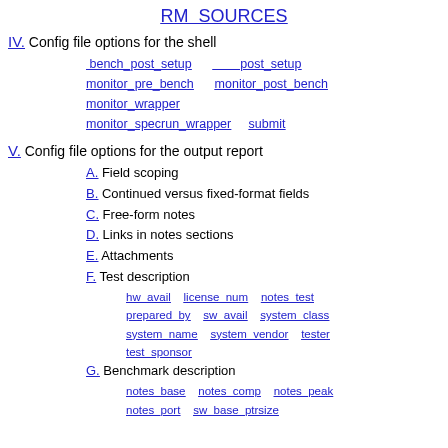RM SOURCES
IV. Config file options for the shell
bench_post_setup   post_setup
monitor_pre_bench   monitor_post_bench
monitor_wrapper
monitor_specrun_wrapper   submit
V. Config file options for the output report
A. Field scoping
B. Continued versus fixed-format fields
C. Free-form notes
D. Links in notes sections
E. Attachments
F. Test description
hw_avail   license_num   notes_test
prepared_by   sw_avail   system_class
system_name   system_vendor   tester
test_sponsor
G. Benchmark description
notes_base   notes_comp   notes_peak
notes_port   sw_base_ptrsize